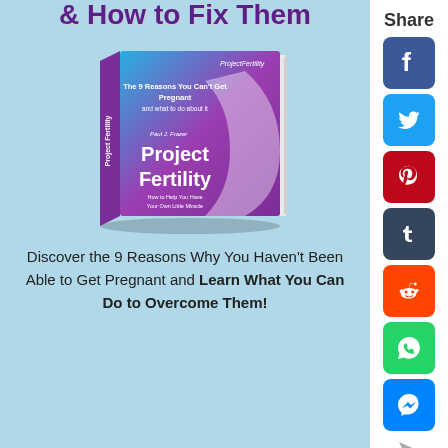& How to Fix Them
[Figure (photo): Book cover of 'Project Fertility' showing a 3D rendered book with gradient blue-to-purple cover, subtitle text 'The 9 Reasons You Can't Get Pregnant and what to do about it' by Paul J. Frazer]
Discover the 9 Reasons Why You Haven't Been Able to Get Pregnant and Learn What You Can Do to Overcome Them!
Share